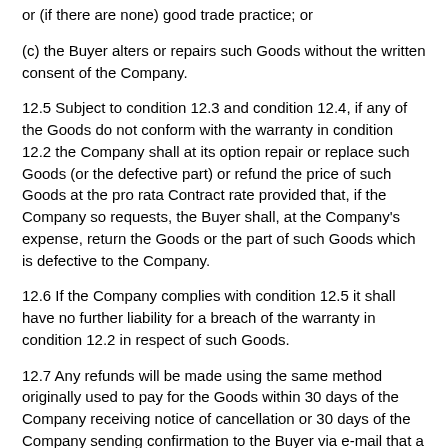or (if there are none) good trade practice; or
(c) the Buyer alters or repairs such Goods without the written consent of the Company.
12.5 Subject to condition 12.3 and condition 12.4, if any of the Goods do not conform with the warranty in condition 12.2 the Company shall at its option repair or replace such Goods (or the defective part) or refund the price of such Goods at the pro rata Contract rate provided that, if the Company so requests, the Buyer shall, at the Company's expense, return the Goods or the part of such Goods which is defective to the Company.
12.6 If the Company complies with condition 12.5 it shall have no further liability for a breach of the warranty in condition 12.2 in respect of such Goods.
12.7 Any refunds will be made using the same method originally used to pay for the Goods within 30 days of the Company receiving notice of cancellation or 30 days of the Company sending confirmation to the Buyer via e-mail that a